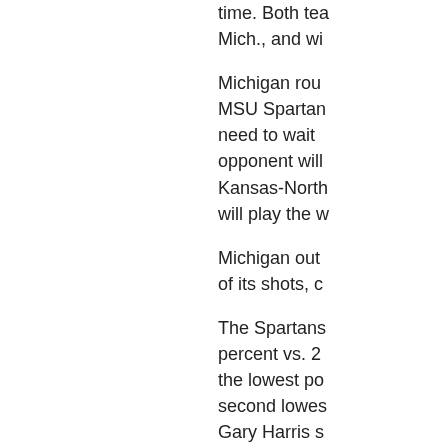time. Both tea Mich., and wi
Michigan rou MSU Spartan need to wait opponent will Kansas-North will play the w
Michigan out of its shots, c
The Spartans percent vs. 2 the lowest po second lowes Gary Harris s State, and ju 10 rebounds aggressive p half.
Congratulatio Kansas 67-6